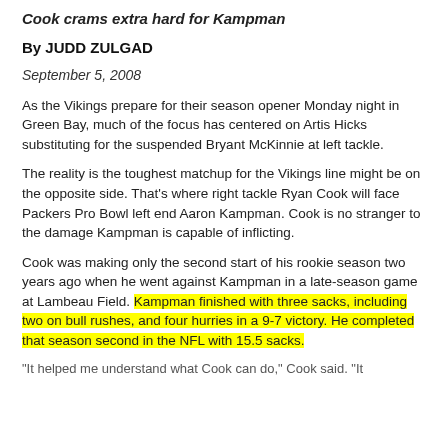Cook crams extra hard for Kampman
By JUDD ZULGAD
September 5, 2008
As the Vikings prepare for their season opener Monday night in Green Bay, much of the focus has centered on Artis Hicks substituting for the suspended Bryant McKinnie at left tackle.
The reality is the toughest matchup for the Vikings line might be on the opposite side. That's where right tackle Ryan Cook will face Packers Pro Bowl left end Aaron Kampman. Cook is no stranger to the damage Kampman is capable of inflicting.
Cook was making only the second start of his rookie season two years ago when he went against Kampman in a late-season game at Lambeau Field. Kampman finished with three sacks, including two on bull rushes, and four hurries in a 9-7 victory. He completed that season second in the NFL with 15.5 sacks.
"It helped me understand what Cook can do," Cook said. "It